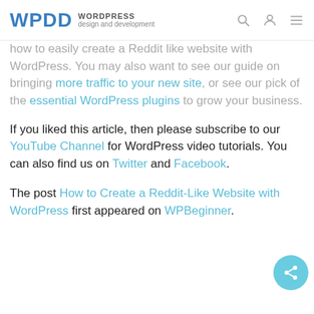WPDD WORDPRESS design and development
how to easily create a Reddit like website with WordPress. You may also want to see our guide on bringing more traffic to your new site, or see our pick of the essential WordPress plugins to grow your business.
If you liked this article, then please subscribe to our YouTube Channel for WordPress video tutorials. You can also find us on Twitter and Facebook.
The post How to Create a Reddit-Like Website with WordPress first appeared on WPBeginner.